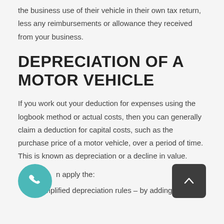the business use of their vehicle in their own tax return, less any reimbursements or allowance they received from your business.
DEPRECIATION OF A MOTOR VEHICLE
If you work out your deduction for expenses using the logbook method or actual costs, then you can generally claim a deduction for capital costs, such as the purchase price of a motor vehicle, over a period of time. This is known as depreciation or a decline in value.
n apply the:
simplified depreciation rules – by adding the motor